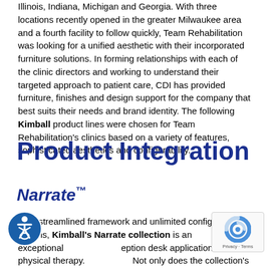Illinois, Indiana, Michigan and Georgia. With three locations recently opened in the greater Milwaukee area and a fourth facility to follow quickly, Team Rehabilitation was looking for a unified aesthetic with their incorporated furniture solutions. In forming relationships with each of the clinic directors and working to understand their targeted approach to patient care, CDI has provided furniture, finishes and design support for the company that best suits their needs and brand identity. The following Kimball product lines were chosen for Team Rehabilitation's clinics based on a variety of features, sophisticated aesthetics and configurability.
Product Integration
Narrate™
With streamlined framework and unlimited configuration options, Kimball's Narrate collection is an exceptional reception desk applications within physical therapy. Not only does the collection's modularity allow for